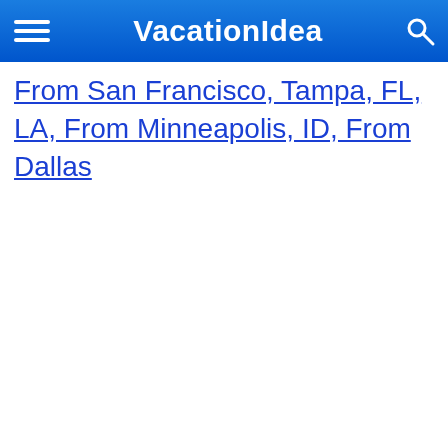VacationIdea
From San Francisco, Tampa, FL, LA, From Minneapolis, ID, From Dallas